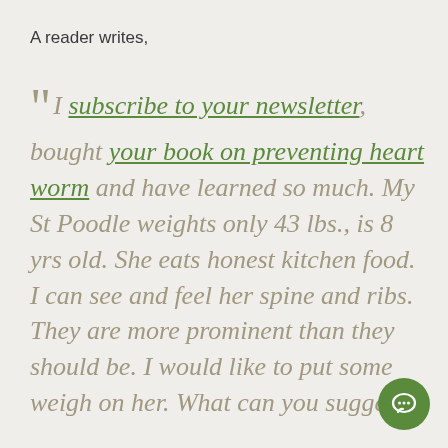A reader writes,
“ I subscribe to your newsletter, bought your book on preventing heart worm and have learned so much. My St Poodle weights only 43 lbs., is 8 yrs old.  She eats honest kitchen food. I can see and feel her spine and ribs. They are more prominent than they should be. I would like to put some weigh on her. What can you suggest I